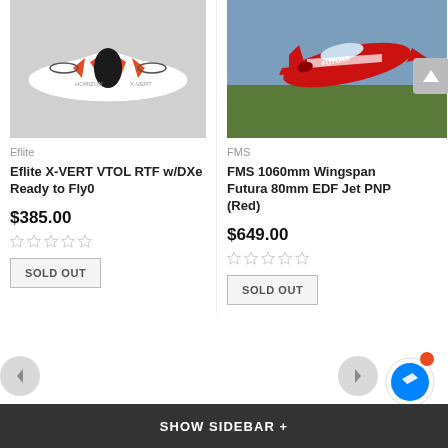[Figure (photo): White Eflite X-VERT VTOL drone/plane on grey background]
[Figure (photo): Red FMS 1060mm Wingspan Futura 80mm EDF Jet in flight against sky and trees]
Eflite
FMS
Eflite X-VERT VTOL RTF w/DXe Ready to Fly0
FMS 1060mm Wingspan Futura 80mm EDF Jet PNP (Red)
$385.00
$649.00
SOLD OUT
SOLD OUT
SHOW SIDEBAR +